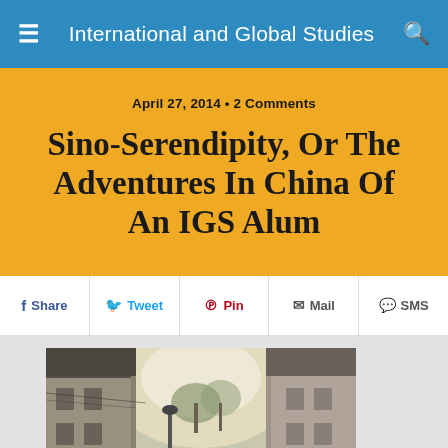International and Global Studies
April 27, 2014 • 2 Comments
Sino-Serendipity, Or The Adventures In China Of An IGS Alum
Share
Tweet
Pin
Mail
SMS
[Figure (photo): A narrow historic street in China with traditional architecture on both sides; several people walking; a person in the center foreground wearing sunglasses and a backpack.]